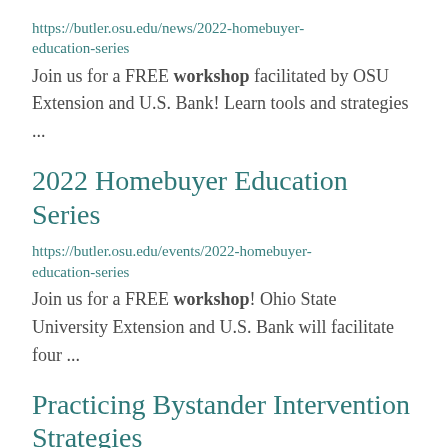https://butler.osu.edu/news/2022-homebuyer-education-series
Join us for a FREE workshop facilitated by OSU Extension and U.S. Bank! Learn tools and strategies ...
2022 Homebuyer Education Series
https://butler.osu.edu/events/2022-homebuyer-education-series
Join us for a FREE workshop! Ohio State University Extension and U.S. Bank will facilitate four ...
Practicing Bystander Intervention Strategies